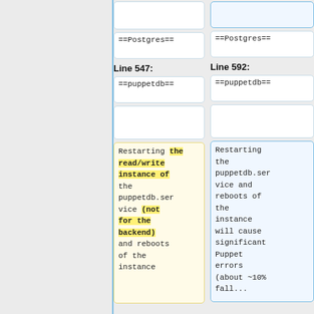==Postgres==
==Postgres==
Line 547:
Line 592:
==puppetdb==
==puppetdb==
Restarting the read/write instance of the puppetdb.service (not for the backend) and reboots of the instance will...
Restarting the puppetdb.service and reboots of the instance will cause significant Puppet errors (about ~10% fall...